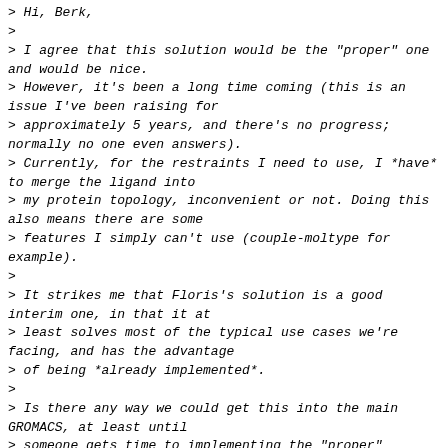> Hi, Berk,
>
> I agree that this solution would be the "proper" one and would be nice.
> However, it's been a long time coming (this is an issue I've been raising for
> approximately 5 years, and there's no progress; normally no one even answers).
> Currently, for the restraints I need to use, I *have* to merge the ligand into
> my protein topology, inconvenient or not. Doing this also means there are some
> features I simply can't use (couple-moltype for example).
>
> It strikes me that Floris's solution is a good interim one, in that it at
> least solves most of the typical use cases we're facing, and has the advantage
> of being *already implemented*.
>
> Is there any way we could get this into the main GROMACS, at least until
> someone gets time to implementing the "proper" solution (which could be years
> from now)?
>
> Thanks!
> David
>